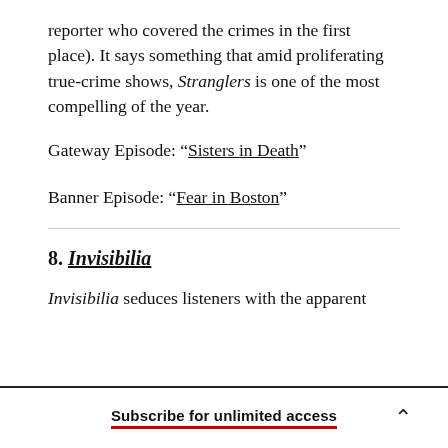reporter who covered the crimes in the first place). It says something that amid proliferating true-crime shows, Stranglers is one of the most compelling of the year.
Gateway Episode: “Sisters in Death”
Banner Episode: “Fear in Boston”
8. Invisibilia
Invisibilia seduces listeners with the apparent
Subscribe for unlimited access